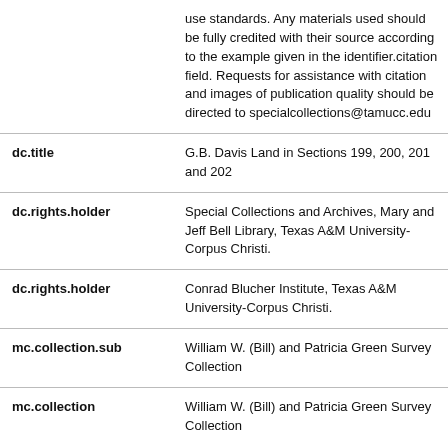| Field | Value |
| --- | --- |
|  | use standards. Any materials used should be fully credited with their source according to the example given in the identifier.citation field. Requests for assistance with citation and images of publication quality should be directed to specialcollections@tamucc.edu |
| dc.title | G.B. Davis Land in Sections 199, 200, 201 and 202 |
| dc.rights.holder | Special Collections and Archives, Mary and Jeff Bell Library, Texas A&M University-Corpus Christi. |
| dc.rights.holder | Conrad Blucher Institute, Texas A&M University-Corpus Christi. |
| mc.collection.sub | William W. (Bill) and Patricia Green Survey Collection |
| mc.collection | William W. (Bill) and Patricia Green Survey Collection |